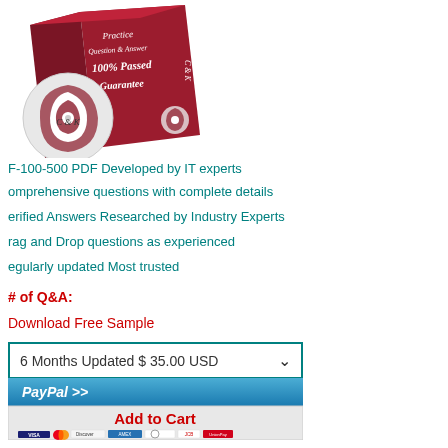[Figure (illustration): Product box image for C&K practice exam software, showing a red box with 'Practice Question & Answer 100% Passed Guarantee' text and a CD/DVD disc with C&K logo swirl]
F-100-500 PDF Developed by IT experts
omprehensive questions with complete details
erified Answers Researched by Industry Experts
rag and Drop questions as experienced
egularly updated Most trusted
# of Q&A:
Download Free Sample
6 Months Updated $ 35.00 USD
[Figure (screenshot): PayPal Add to Cart button with payment method icons including VISA, Mastercard, Discover, American Express, Diners Club, JCB, UnionPay]